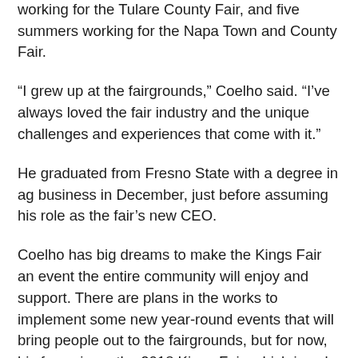his knowledge of the fair industry, he spent time working for the Tulare County Fair, and five summers working for the Napa Town and County Fair.
“I grew up at the fairgrounds,” Coelho said. “I’ve always loved the fair industry and the unique challenges and experiences that come with it.”
He graduated from Fresno State with a degree in ag business in December, just before assuming his role as the fair’s new CEO.
Coelho has big dreams to make the Kings Fair an event the entire community will enjoy and support. There are plans in the works to implement some new year-round events that will bring people out to the fairgrounds, but for now, his focus in on the 2018 Kings Fair, which is only three months away.
“We’re working on some new ideas that should